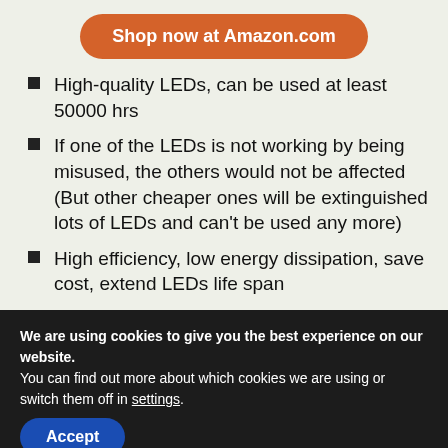Shop now at Amazon.com
High-quality LEDs, can be used at least 50000 hrs
If one of the LEDs is not working by being misused, the others would not be affected (But other cheaper ones will be extinguished lots of LEDs and can't be used any more)
High efficiency, low energy dissipation, save cost, extend LEDs life span
We are using cookies to give you the best experience on our website.
You can find out more about which cookies we are using or switch them off in settings.
Accept